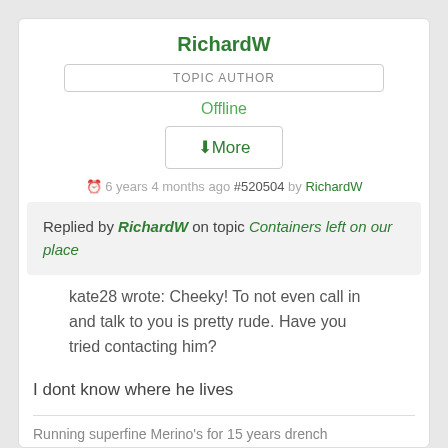RichardW
TOPIC AUTHOR
Offline
↓More
6 years 4 months ago #520504 by RichardW
Replied by RichardW on topic Containers left on our place
kate28 wrote: Cheeky! To not even call in and talk to you is pretty rude. Have you tried contacting him?
I dont know where he lives
Running superfine Merino's for 15 years drench